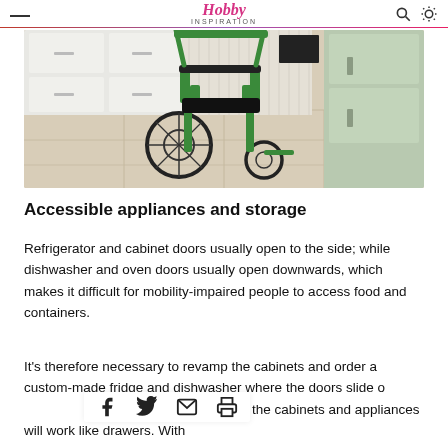Hobby Inspiration
[Figure (photo): Wheelchair in a kitchen with white and light green cabinets, tile floor]
Accessible appliances and storage
Refrigerator and cabinet doors usually open to the side; while dishwasher and oven doors usually open downwards, which makes it difficult for mobility-impaired people to access food and containers.
It's therefore necessary to revamp the cabinets and order a custom-made fridge and dishwasher where the doors slide o[...] content of the cabinets and appliances will work like drawers. With